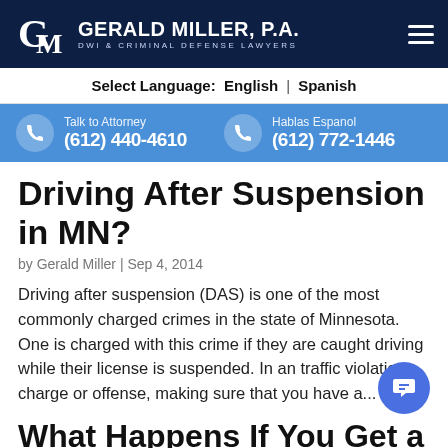GERALD MILLER, P.A. DWI & CRIMINAL DEFENSE LAWYERS
Select Language: English | Spanish
Talk to Attorney (612) 440-4610 | Hablas Espanol (612) 772-1446
Driving After Suspension in MN?
by Gerald Miller | Sep 4, 2014
Driving after suspension (DAS) is one of the most commonly charged crimes in the state of Minnesota. One is charged with this crime if they are caught driving while their license is suspended. In an traffic violation charge or offense, making sure that you have a...
What Happens If You Get a